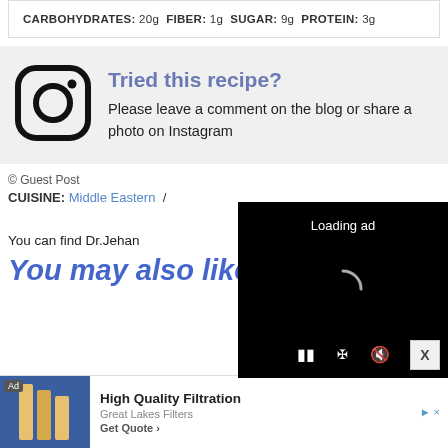CARBOHYDRATES: 20g  FIBER: 1g  SUGAR: 9g  PROTEIN: 3g
[Figure (other): Instagram camera icon logo]
Tried this recipe?
Please leave a comment on the blog or share a photo on Instagram
© Guest Post
CUISINE: Middle Eastern /
[Figure (screenshot): Video ad loading screen with spinner and playback controls, showing 'Loading ad' text on black background]
You can find Dr.Jehan
You may also like,
[Figure (other): Advertisement banner: High Quality Filtration - Great Lakes Filters - Get Quote]